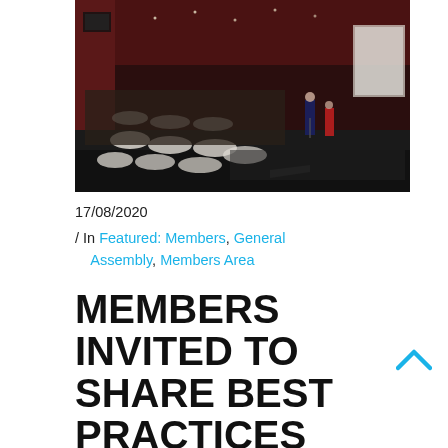[Figure (photo): Wide-angle photo of a large group seated at round tables in a dark venue with red walls, attending a presentation. A speaker stands on a raised stage at the front right with a display board visible on the right side wall.]
17/08/2020
/ In Featured: Members, General Assembly, Members Area
MEMBERS INVITED TO SHARE BEST PRACTICES